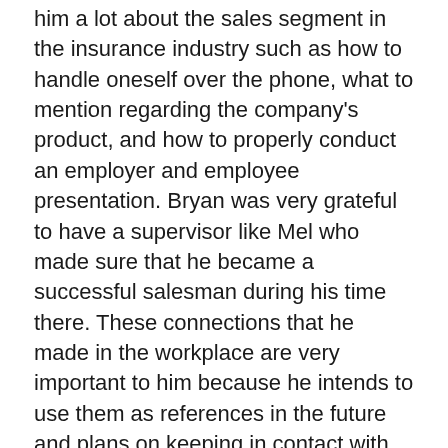him a lot about the sales segment in the insurance industry such as how to handle oneself over the phone, what to mention regarding the company's product, and how to properly conduct an employer and employee presentation. Bryan was very grateful to have a supervisor like Mel who made sure that he became a successful salesman during his time there. These connections that he made in the workplace are very important to him because he intends to use them as references in the future and plans on keeping in contact with them as well.
Future Implications
The junior feels prepared for when a client declines an offer and how to come back from that situation. After interning at Aflac, Bryan believes that the company changed him personally as he says, "I am more confident and patient as a student than I was ever before." Whenever he doesn't do as well as he